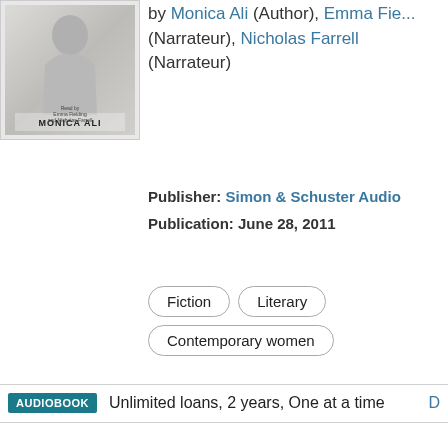[Figure (photo): Book cover thumbnail for Monica Ali audiobook showing a black and white photo, with author name at bottom]
by Monica Ali (Author), Emma Fie... (Narrateur), Nicholas Farrell (Narrateur)
Publisher: Simon & Schuster Audio
Publication: June 28, 2011
Fiction
Literary
Contemporary women
AUDIOBOOK Unlimited loans, 2 years, One at a time D...